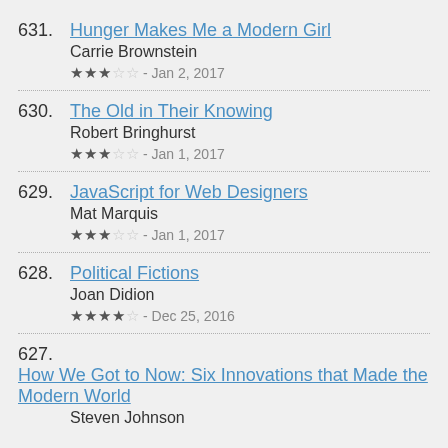631. Hunger Makes Me a Modern Girl — Carrie Brownstein — ★★★☆☆ - Jan 2, 2017
630. The Old in Their Knowing — Robert Bringhurst — ★★★☆☆ - Jan 1, 2017
629. JavaScript for Web Designers — Mat Marquis — ★★★☆☆ - Jan 1, 2017
628. Political Fictions — Joan Didion — ★★★★☆ - Dec 25, 2016
627. How We Got to Now: Six Innovations that Made the Modern World — Steven Johnson